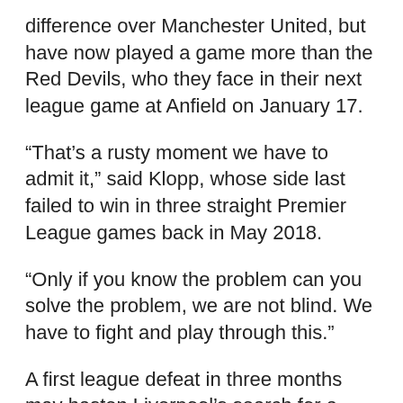difference over Manchester United, but have now played a game more than the Red Devils, who they face in their next league game at Anfield on January 17.
“That’s a rusty moment we have to admit it,” said Klopp, whose side last failed to win in three straight Premier League games back in May 2018.
“Only if you know the problem can you solve the problem, we are not blind. We have to fight and play through this.”
A first league defeat in three months may hasten Liverpool’s search for a centre-back in the January transfer window.